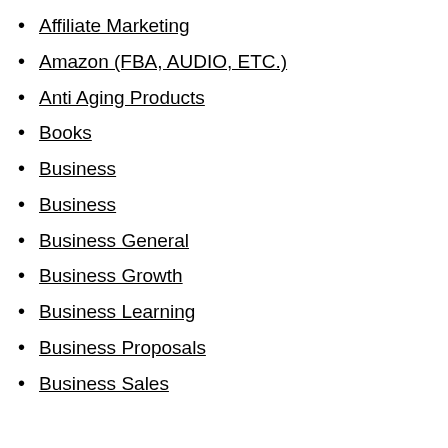Affiliate Marketing
Amazon (FBA, AUDIO, ETC.)
Anti Aging Products
Books
Business
Business
Business General
Business Growth
Business Learning
Business Proposals
Business Sales